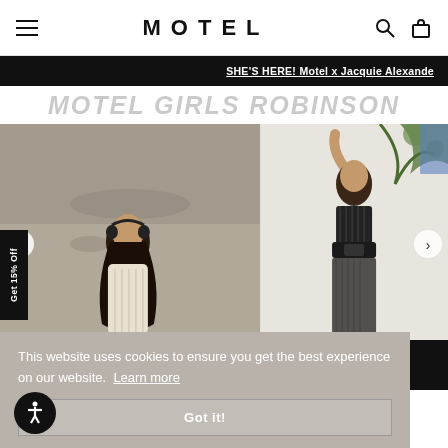MOTEL
SHE'S HERE! Motel x Jacquie Alexandre
MOTEL GIRLS ROBINSON
[Figure (photo): Two fashion model photos side by side. Left: woman wearing a patterned white short-sleeve dress with headphones around her neck, posing on a street. Right: woman in a black fishnet/mesh outfit posing against a white wall with plants.]
Get 15% Off
This website uses cookies to ensure you get the best experience on our website. Learn more
Got it!